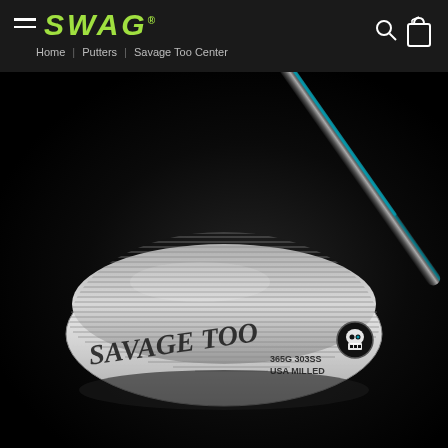SWAG | Home | Putters | Savage Too Center
[Figure (photo): Close-up product photo of the SWAG Savage Too putter head against a dark background. The putter is silver/chrome milled steel with a textured face featuring fine parallel lines. The head is inscribed with 'SAVAGE TOO' in large script lettering, followed by '365G 303SS' and 'USA MILLED'. A SWAG skull logo badge appears on the toe. The shaft extends upward to the upper right.]